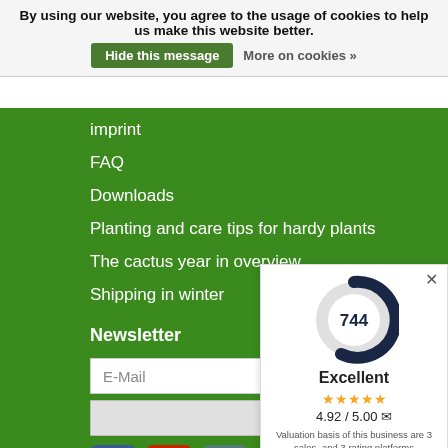By using our website, you agree to the usage of cookies to help us make this website better. Hide this message More on cookies »
imprint
FAQ
Downloads
Planting and care tips for hardy plants
The cactus year in overview
Shipping in winter
Newsletter
E-Mail
Subscribe
[Figure (infographic): Social media icons: Facebook, YouTube, Instagram]
[Figure (infographic): Payment method icons: BANK, Klarna, PayPal, Mastercard, VISA, American Express, DISCOVER]
[Figure (infographic): Rating widget showing 744 reviews, Excellent, 4.92/5.00, donut chart, Valuation basis of this business are 3 sales- and 3 rating platforms]